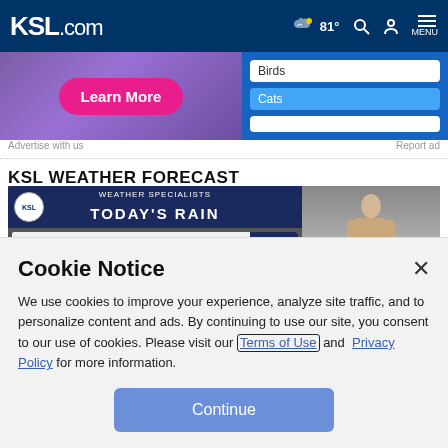KSL.com  81° MENU
[Figure (screenshot): Advertisement banner with purple background, pink 'Learn More' button on left, and a blue panel with Birds/Cats categories on right]
Advertise with us    Report ad
KSL WEATHER FORECAST
[Figure (screenshot): Weather forecast video thumbnail showing 'TODAY'S RAIN' with ORANGEVILLE .53 and BLUEBELL .48 in a table, KSL logo circle, and a weather specialist on the right]
Cookie Notice
We use cookies to improve your experience, analyze site traffic, and to personalize content and ads. By continuing to use our site, you consent to our use of cookies. Please visit our Terms of Use and Privacy Policy for more information.
Continue